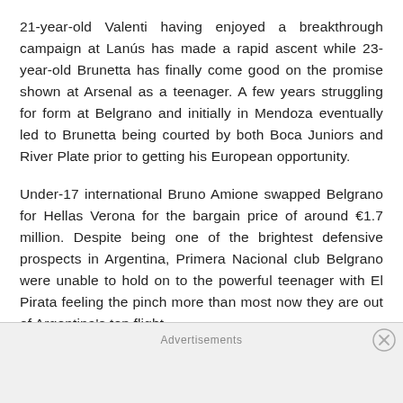21-year-old Valenti having enjoyed a breakthrough campaign at Lanús has made a rapid ascent while 23-year-old Brunetta has finally come good on the promise shown at Arsenal as a teenager. A few years struggling for form at Belgrano and initially in Mendoza eventually led to Brunetta being courted by both Boca Juniors and River Plate prior to getting his European opportunity.
Under-17 international Bruno Amione swapped Belgrano for Hellas Verona for the bargain price of around €1.7 million. Despite being one of the brightest defensive prospects in Argentina, Primera Nacional club Belgrano were unable to hold on to the powerful teenager with El Pirata feeling the pinch more than most now they are out of Argentina's top flight.
Advertisements